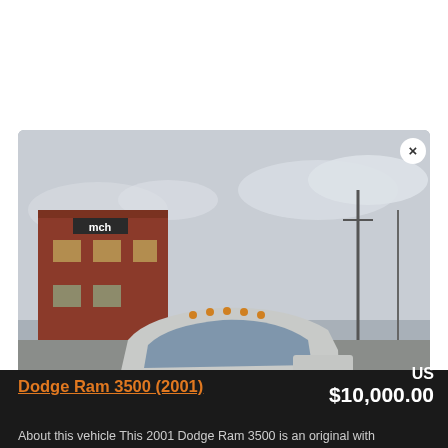[Figure (photo): A silver 2001 Dodge Ram 3500 dually pickup truck parked in a parking lot. The truck faces forward-left angle. Behind it is a red brick building with an 'mch' sign. The sky is overcast/cloudy. The truck has a hood deflector, chrome grille, and dual rear wheels.]
Dodge Ram 3500 (2001)
US $10,000.00
About this vehicle This 2001 Dodge Ram 3500 is an original with